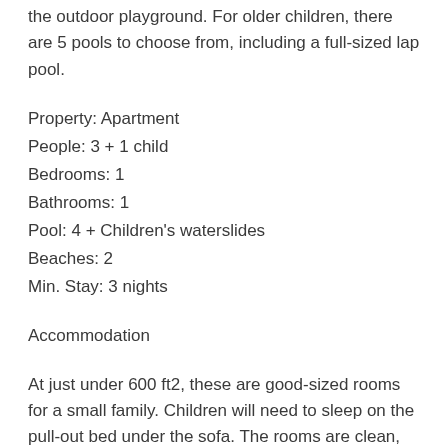the outdoor playground. For older children, there are 5 pools to choose from, including a full-sized lap pool.
Property: Apartment
People: 3 + 1 child
Bedrooms: 1
Bathrooms: 1
Pool: 4 + Children's waterslides
Beaches: 2
Min. Stay: 3 nights
Accommodation
At just under 600 ft2, these are good-sized rooms for a small family. Children will need to sleep on the pull-out bed under the sofa. The rooms are clean, all are en suite with a walk-in shower. There is a